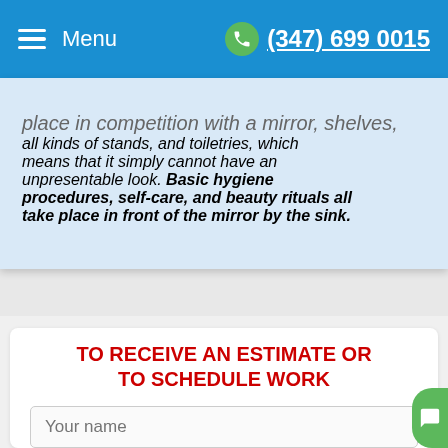Menu  (347) 699 0015
place in competition with a mirror, shelves, all kinds of stands, and toiletries, which means that it simply cannot have an unpresentable look. Basic hygiene procedures, self-care, and beauty rituals all take place in front of the mirror by the sink.
TO RECEIVE AN ESTIMATE OR TO SCHEDULE WORK
Your name